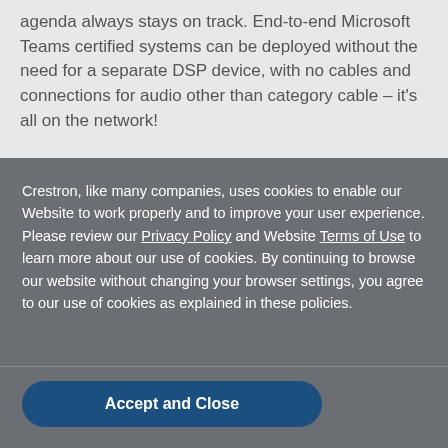agenda always stays on track. End-to-end Microsoft Teams certified systems can be deployed without the need for a separate DSP device, with no cables and connections for audio other than category cable – it's all on the network!
Crestron, like many companies, uses cookies to enable our Website to work properly and to improve your user experience. Please review our Privacy Policy and Website Terms of Use to learn more about our use of cookies. By continuing to browse our website without changing your browser settings, you agree to our use of cookies as explained in these policies.
Accept and Close